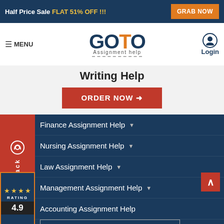Half Price Sale FLAT 51% OFF !!!   GRAB NOW
[Figure (logo): GoTo Assignment Help logo with navigation menu and login button]
Writing Help
ORDER NOW →
Finance Assignment Help ▾
Nursing Assignment Help ▾
Law Assignment Help ▾
Management Assignment Help ▾
Accounting Assignment Help
Economics As...
Leave a message
Call Back
★★★★ RATING 4.9